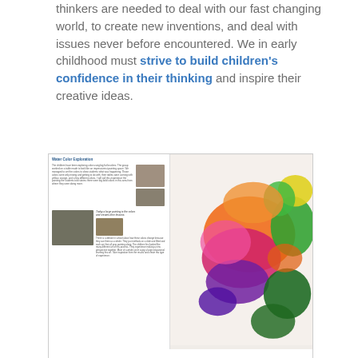thinkers are needed to deal with our fast changing world, to create new inventions, and deal with issues never before encountered. We in early childhood must strive to build children's confidence in their thinking and inspire their creative ideas.
[Figure (photo): A two-page spread showing a documentation/newsletter page titled 'Water Color Exploration' on the left with small photos of toddlers painting, and on the right a colorful watercolor painting made by toddlers with bright orange, pink, purple, green, and yellow blobs.]
Toddlers painting with watercolors